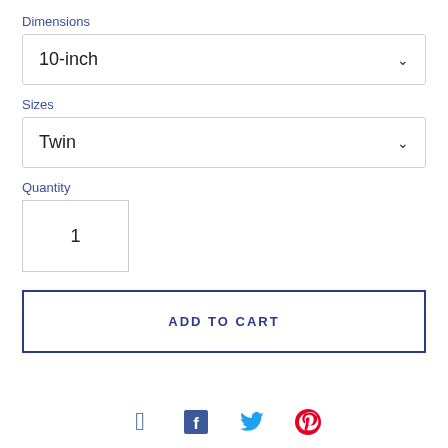Dimensions
10-inch
Sizes
Twin
Quantity
1
ADD TO CART
[Figure (infographic): Social sharing icons: Facebook (blue), Twitter (light blue), Pinterest (red)]